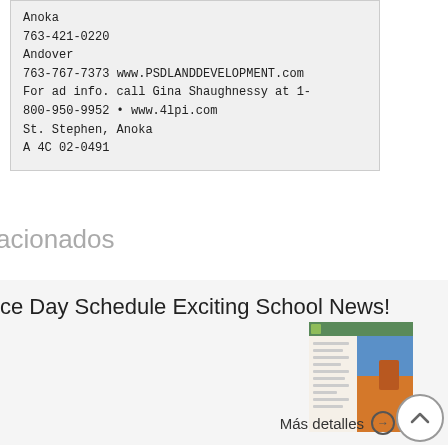Anoka
763-421-0220
Andover
763-767-7373 www.PSDLANDDEVELOPMENT.com
For ad info. call Gina Shaughnessy at 1-800-950-9952 • www.4lpi.com
St. Stephen, Anoka
A 4C 02-0491
acionados
ce Day Schedule Exciting School News!
[Figure (screenshot): Thumbnail of a newsletter/document page with orange desert landscape image]
Más detalles →